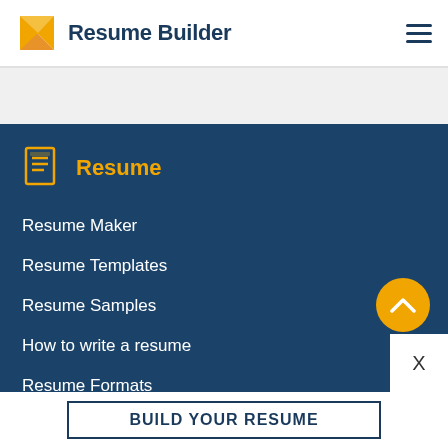Resume Builder
Resume
Resume Maker
Resume Templates
Resume Samples
How to write a resume
Resume Formats
CV Templates
BUILD YOUR RESUME